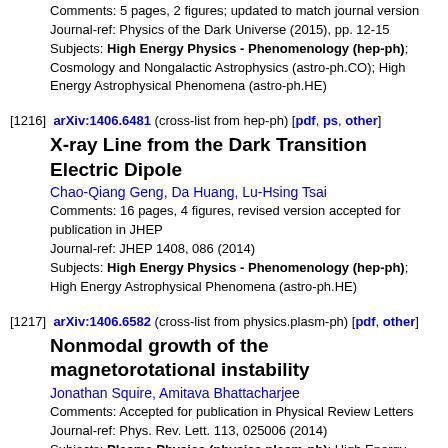Comments: 5 pages, 2 figures; updated to match journal version
Journal-ref: Physics of the Dark Universe (2015), pp. 12-15
Subjects: High Energy Physics - Phenomenology (hep-ph); Cosmology and Nongalactic Astrophysics (astro-ph.CO); High Energy Astrophysical Phenomena (astro-ph.HE)
[1216]  arXiv:1406.6481 (cross-list from hep-ph) [pdf, ps, other]
X-ray Line from the Dark Transition Electric Dipole
Chao-Qiang Geng, Da Huang, Lu-Hsing Tsai
Comments: 16 pages, 4 figures, revised version accepted for publication in JHEP
Journal-ref: JHEP 1408, 086 (2014)
Subjects: High Energy Physics - Phenomenology (hep-ph); High Energy Astrophysical Phenomena (astro-ph.HE)
[1217]  arXiv:1406.6582 (cross-list from physics.plasm-ph) [pdf, other]
Nonmodal growth of the magnetorotational instability
Jonathan Squire, Amitava Bhattacharjee
Comments: Accepted for publication in Physical Review Letters
Journal-ref: Phys. Rev. Lett. 113, 025006 (2014)
Subjects: Plasma Physics (physics.plasm-ph); High Energy...